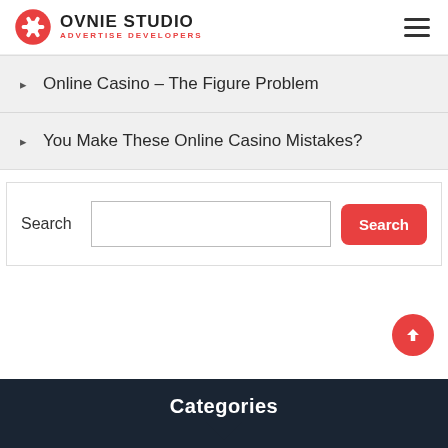OVNIE STUDIO ADVERTISE DEVELOPERS
Online Casino – The Figure Problem
You Make These Online Casino Mistakes?
Search
Categories